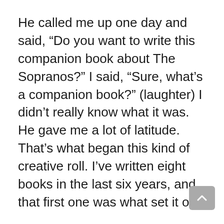He called me up one day and said, “Do you want to write this companion book about The Sopranos?” I said, “Sure, what’s a companion book?” (laughter) I didn’t really know what it was. He gave me a lot of latitude. That’s what began this kind of creative roll. I’ve written eight books in the last six years, and that first one was what set it off.
Chet Cooper: Can you tell me more about the books?
AR: I’ve written three books on The Sopranos. One of them was the original book called The Sopranos: A Family History, which is kind of a faux history of a faux mob family. It’s as if I